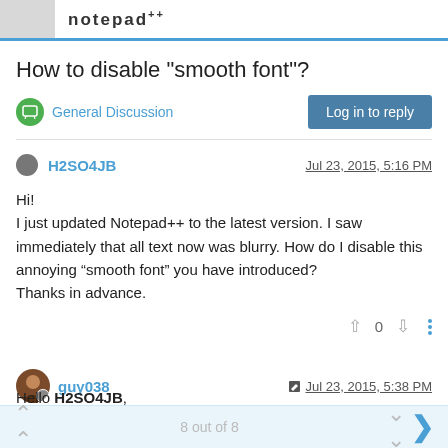notepad++
How to disable "smooth font"?
General Discussion
Log in to reply
H2SO4JB   Jul 23, 2015, 5:16 PM
Hi!
I just updated Notepad++ to the latest version. I saw immediately that all text now was blurry. How do I disable this annoying “smooth font” you have introduced?
Thanks in advance.
0
guy038   Jul 23, 2015, 5:38 PM
Hello H2SO4JB,
8 out of 8